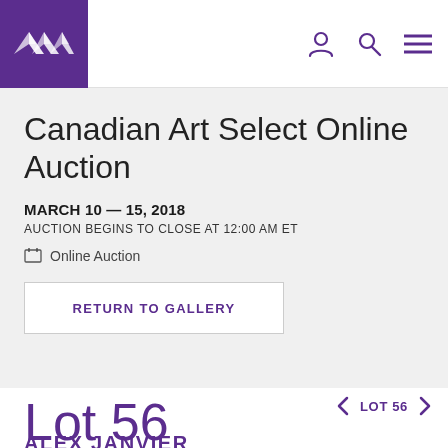Canadian Art Select Online Auction — auction house header with logo and navigation
Canadian Art Select Online Auction
MARCH 10 — 15, 2018
AUCTION BEGINS TO CLOSE AT 12:00 AM ET
Online Auction
RETURN TO GALLERY
LOT 56
Lot 56
ALEX JANVIER